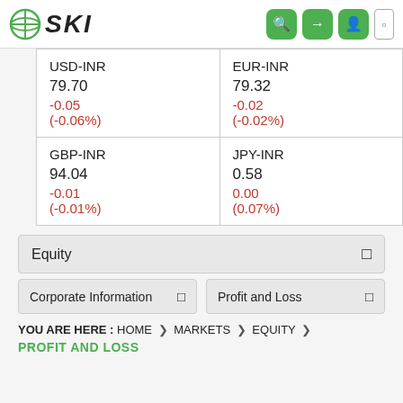SKI
| USD-INR | EUR-INR |
| --- | --- |
| 79.70
-0.05
(-0.06%) | 79.32
-0.02
(-0.02%) |
| GBP-INR
94.04
-0.01
(-0.01%) | JPY-INR
0.58
0.00
(0.07%) |
Equity
Corporate Information
Profit and Loss
YOU ARE HERE : HOME > MARKETS > EQUITY > PROFIT AND LOSS